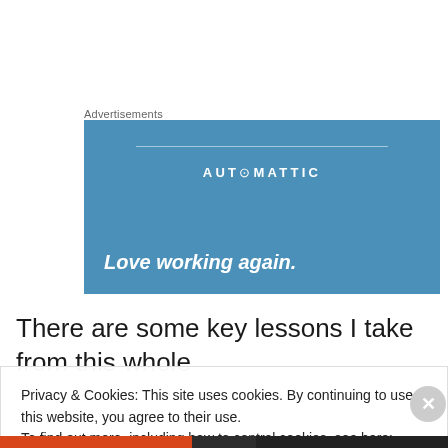Advertisements
[Figure (illustration): Automattic advertisement banner with blue background. Shows the Automattic logo at top center and the tagline 'Love working again.' in bold italic white text at the bottom left.]
There are some key lessons I take from this whole
Privacy & Cookies: This site uses cookies. By continuing to use this website, you agree to their use.
To find out more, including how to control cookies, see here: Cookie Policy
Close and accept